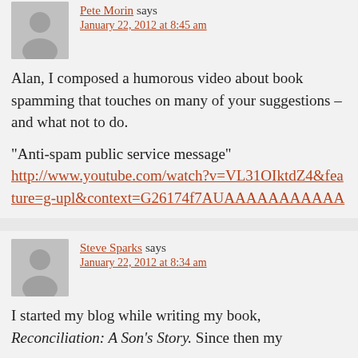[Figure (illustration): Gray placeholder avatar silhouette for Pete Morin]
Pete Morin says
January 22, 2012 at 8:45 am
Alan, I composed a humorous video about book spamming that touches on many of your suggestions – and what not to do.

"Anti-spam public service message"
http://www.youtube.com/watch?v=VL31OIktdZ4&feature=g-upl&context=G26174f7AUAAAAAAAAAAA
[Figure (illustration): Gray placeholder avatar silhouette for Steve Sparks]
Steve Sparks says
January 22, 2012 at 8:34 am
I started my blog while writing my book, Reconciliation: A Son's Story. Since then my